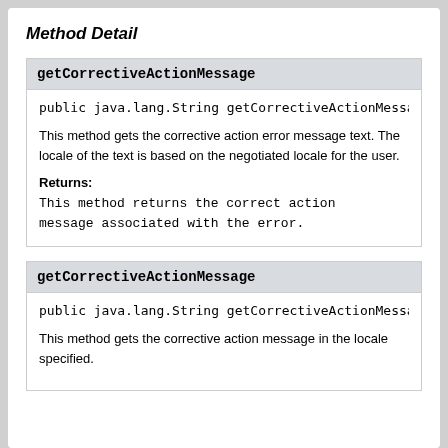Method Detail
getCorrectiveActionMessage
public java.lang.String getCorrectiveActionMessag
This method gets the corrective action error message text. The locale of the text is based on the negotiated locale for the user.
Returns:
This method returns the correct action message associated with the error.
getCorrectiveActionMessage
public java.lang.String getCorrectiveActionMessag
This method gets the corrective action message in the locale specified.